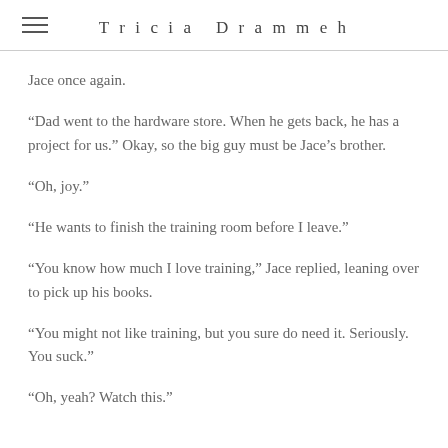Tricia Drammeh
Jace once again.
“Dad went to the hardware store. When he gets back, he has a project for us.” Okay, so the big guy must be Jace’s brother.
“Oh, joy.”
“He wants to finish the training room before I leave.”
“You know how much I love training,” Jace replied, leaning over to pick up his books.
“You might not like training, but you sure do need it. Seriously. You suck.”
“Oh, yeah? Watch this.”